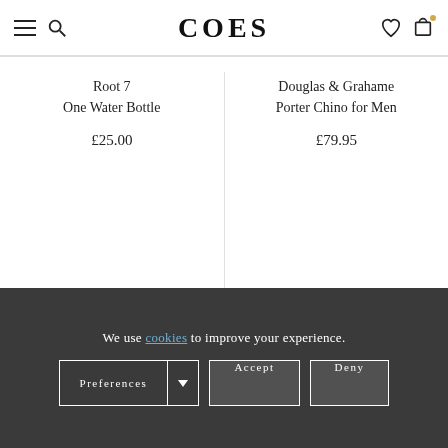COES
Root 7
One Water Bottle
£25.00
Douglas & Grahame
Porter Chino for Men
£79.95
Root 7 Shot Glasses - 4 Pack
£12.00
We use cookies to improve your experience. [Preferences] [Accept] [Deny]